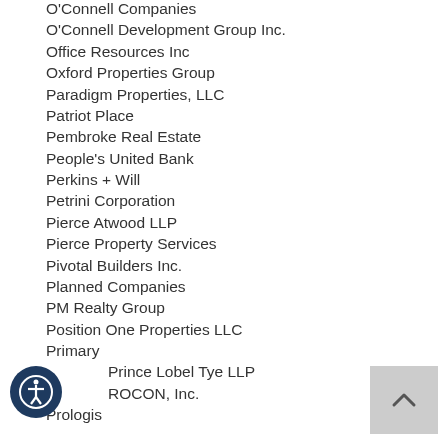O'Connell Companies
O'Connell Development Group Inc.
Office Resources Inc
Oxford Properties Group
Paradigm Properties, LLC
Patriot Place
Pembroke Real Estate
People's United Bank
Perkins + Will
Petrini Corporation
Pierce Atwood LLP
Pierce Property Services
Pivotal Builders Inc.
Planned Companies
PM Realty Group
Position One Properties LLC
Primary
Prince Lobel Tye LLP
PROCON, Inc.
Prologis